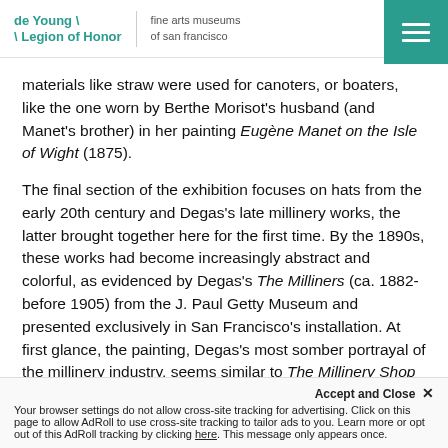de Young \ Legion of Honor — fine arts museums of san francisco
materials like straw were used for canoters, or boaters, like the one worn by Berthe Morisot's husband (and Manet's brother) in her painting Eugène Manet on the Isle of Wight (1875).
The final section of the exhibition focuses on hats from the early 20th century and Degas's late millinery works, the latter brought together here for the first time. By the 1890s, these works had become increasingly abstract and colorful, as evidenced by Degas's The Milliners (ca. 1882-before 1905) from the J. Paul Getty Museum and presented exclusively in San Francisco's installation. At first glance, the painting, Degas's most somber portrayal of the millinery industry, seems similar to The Millinery Shop (1879-80) at the start of the exhibition. A technical study of
Accept and Close ×
Your browser settings do not allow cross-site tracking for advertising. Click on this page to allow AdRoll to use cross-site tracking to tailor ads to you. Learn more or opt out of this AdRoll tracking by clicking here. This message only appears once.